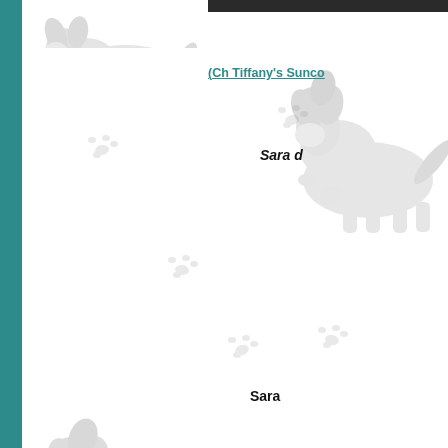[Figure (photo): Partial view of a dog (spaniel) at top-left, cropped, grayscale watermark style]
[Figure (photo): Black decorative bar at top right of page]
(Ch Tiffany's Sunco
Sara d
[Figure (photo): Springer Spaniel dog jumping/playing, grayscale watermark, upper right area]
Sara
[Figure (photo): Springer Spaniel dog jumping/playing, grayscale watermark, middle left]
[Figure (illustration): Teal/dark cyan bordered empty rectangle box, lower right area]
[Figure (photo): Springer Spaniel dog jumping/playing, grayscale watermark, lower right]
[Figure (photo): Photo frame with gray border at bottom of page, partially visible]
[Figure (illustration): Teal bordered small rectangle, bottom right, partially visible]